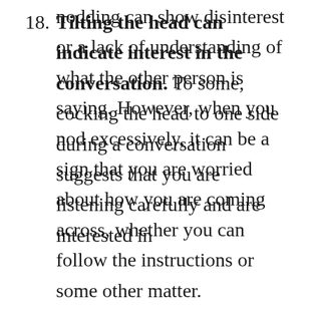nodding can show disinterest or a lack of understanding of what the other person is saying. However, when you nod excessively, it can be a sign that you are worried about how you are coming across, whether you can follow the instructions or some other matter.
18. Tilting the head can indicate interest in the conversation. To some, cocking the head to one side during a conversation suggests that you are listening carefully and are interested in the conversation.